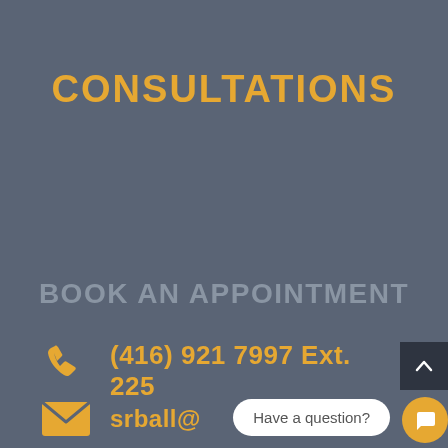CONSULTATIONS
BOOK AN APPOINTMENT
(416) 921 7997 Ext. 225
srball@
Have a question?